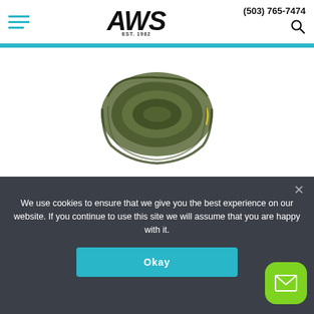AWS EST. 1992 | (503) 765-7474
[Figure (photo): Coiled green/olive wakeboard or water ski rope product photo, partially visible, centered on white background]
FOLLOW 2020 OLI PRO ROPE
$129.99
ADD TO CART
We use cookies to ensure that we give you the best experience on our website. If you continue to use this site we will assume that you are happy with it.
Okay